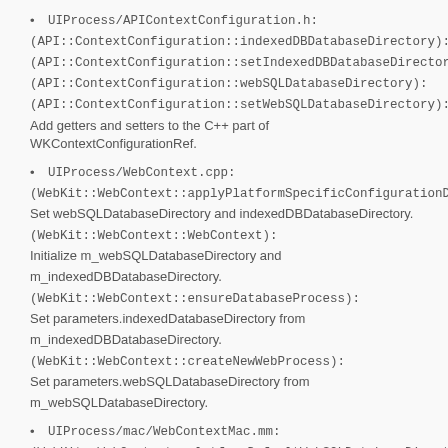UIProcess/APIContextConfiguration.h:
(API::ContextConfiguration::indexedDBDatabaseDirectory):
(API::ContextConfiguration::setIndexedDBDatabaseDirectory):
(API::ContextConfiguration::webSQLDatabaseDirectory):
(API::ContextConfiguration::setWebSQLDatabaseDirectory):
Add getters and setters to the C++ part of WKContextConfigurationRef.
UIProcess/WebContext.cpp:
(WebKit::WebContext::applyPlatformSpecificConfigurationDefaults):
Set webSQLDatabaseDirectory and indexedDBDatabaseDirectory.
(WebKit::WebContext::WebContext):
Initialize m_webSQLDatabaseDirectory and m_indexedDBDatabaseDirectory.
(WebKit::WebContext::ensureDatabaseProcess):
Set parameters.indexedDatabaseDirectory from m_indexedDBDatabaseDirectory.
(WebKit::WebContext::createNewWebProcess):
Set parameters.webSQLDatabaseDirectory from m_webSQLDatabaseDirectory.
UIProcess/mac/WebContextMac.mm:
(WebKit::WebContext::platformDefaultWebSQLDatabaseDirectory):
Rename this to indicate that it's about WebSQL databases.
(WebKit::WebContext::platformDefaultIndexedDBDatabaseDirectory):
Add this.